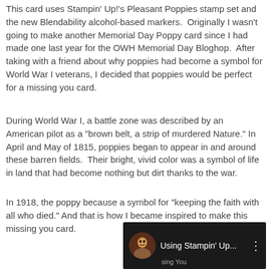This card uses Stampin' Up!'s Pleasant Poppies stamp set and the new Blendability alcohol-based markers.  Originally I wasn't going to make another Memorial Day Poppy card since I had made one last year for the OWH Memorial Day Bloghop.  After taking with a friend about why poppies had become a symbol for World War I veterans, I decided that poppies would be perfect for a missing you card.
During World War I, a battle zone was described by an American pilot as a "brown belt, a strip of murdered Nature." In April and May of 1815, poppies began to appear in and around these barren fields.  Their bright, vivid color was a symbol of life in land that had become nothing but dirt thanks to the war.
In 1918, the poppy because a symbol for "keeping the faith with all who died." And that is how I became inspired to make this missing you card.
[Figure (screenshot): Video thumbnail showing 'Using Stampin' Up...' with a circular avatar of a person and three-dot menu icon on dark background, with 'sing You' text partially visible at bottom]